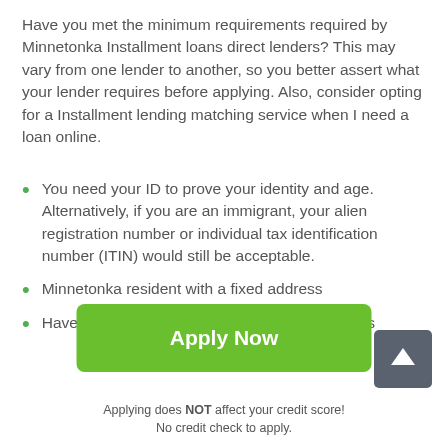Have you met the minimum requirements required by Minnetonka Installment loans direct lenders? This may vary from one lender to another, so you better assert what your lender requires before applying. Also, consider opting for a Installment lending matching service when I need a loan online.
You need your ID to prove your identity and age. Alternatively, if you are an immigrant, your alien registration number or individual tax identification number (ITIN) would still be acceptable.
Minnetonka resident with a fixed address
Have valid proof of income with bank statements
[Figure (other): Scroll-up button icon — dark gray rounded square with white upward arrow]
[Figure (other): Green Apply Now button]
Applying does NOT affect your credit score!
No credit check to apply.